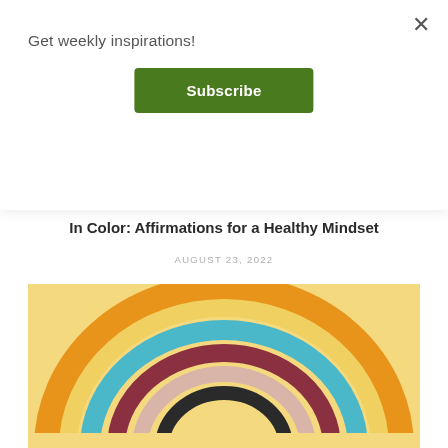Get weekly inspirations!
Subscribe
[Figure (illustration): Book cover with light blue gradient background and text 'AFFIRMATIONS: IN COLOR' in uppercase monospace font]
In Color: Affirmations for a Healthy Mindset
AUGUST 23, 2022
[Figure (illustration): Colorful boho-style rainbow illustration on a yellow/cream background with concentric arches in orange, yellow, teal/blue, dark red/maroon, pink/beige, and black bands]